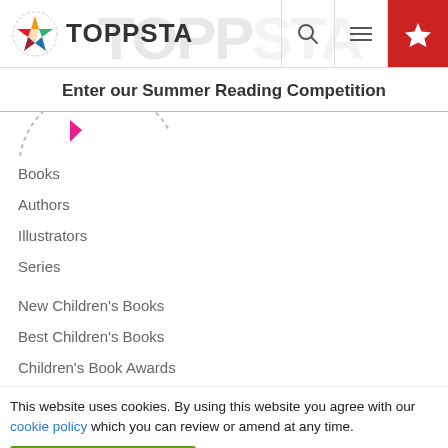[Figure (logo): Toppsta logo with colorful star icon and bold TOPPSTA text, search and menu icons, red star button in header]
Enter our Summer Reading Competition
[Figure (illustration): Dotted arc with a pink/magenta play triangle arrow, partial navigation graphic]
Books
Authors
Illustrators
Series
New Children's Books
Best Children's Books
Children's Book Awards
This website uses cookies. By using this website you agree with our cookie policy which you can review or amend at any time.
✓ ACCEPT COOKIES
Feedback